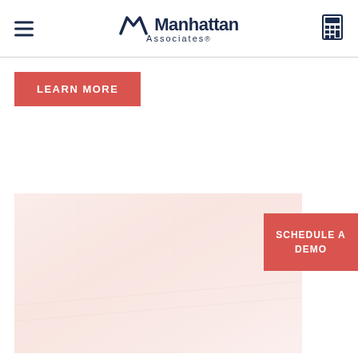Manhattan Associates
LEARN MORE
[Figure (photo): Faded/washed-out photo of a warehouse or logistics scene with reddish-pink color tint]
SCHEDULE A DEMO